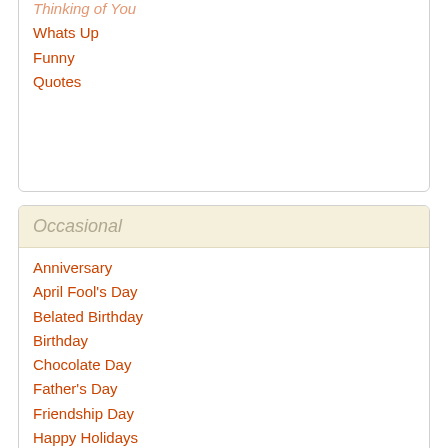Thinking of You
Whats Up
Funny
Quotes
Occasional
Anniversary
April Fool's Day
Belated Birthday
Birthday
Chocolate Day
Father's Day
Friendship Day
Happy Holidays
Hug Day
Independence Day
Mother's Day
New Year
Republic Day
Teddy Bear Day